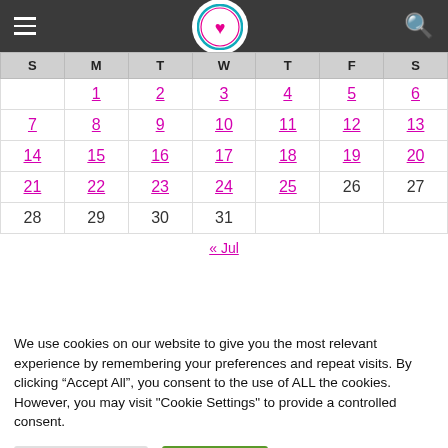Navigation header with hamburger menu, logo, and search icon
| S | M | T | W | T | F | S |
| --- | --- | --- | --- | --- | --- | --- |
|  | 1 | 2 | 3 | 4 | 5 | 6 |
| 7 | 8 | 9 | 10 | 11 | 12 | 13 |
| 14 | 15 | 16 | 17 | 18 | 19 | 20 |
| 21 | 22 | 23 | 24 | 25 | 26 | 27 |
| 28 | 29 | 30 | 31 |  |  |  |
« Jul
We use cookies on our website to give you the most relevant experience by remembering your preferences and repeat visits. By clicking "Accept All", you consent to the use of ALL the cookies. However, you may visit "Cookie Settings" to provide a controlled consent.
Cookie Settings | Accept All